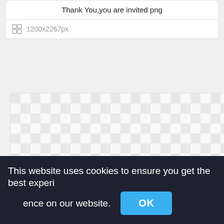Thank You,you are invited png
1200x2267px
[Figure (other): Transparent PNG checkerboard preview area — large light grey and white checkerboard pattern indicating a transparent image background]
This website uses cookies to ensure you get the best experience on our website.
OK